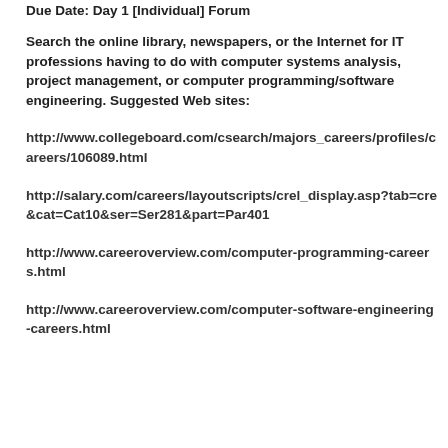Due Date: Day 1 [Individual] Forum
Search the online library, newspapers, or the Internet for IT professions having to do with computer systems analysis, project management, or computer programming/software engineering. Suggested Web sites:
http://www.collegeboard.com/csearch/majors_careers/profiles/careers/106089.html
http://salary.com/careers/layoutscripts/crel_display.asp?tab=cre&cat=Cat10&ser=Ser281&part=Par401
http://www.careeroverview.com/computer-programming-careers.html
http://www.careeroverview.com/computer-software-engineering-careers.html